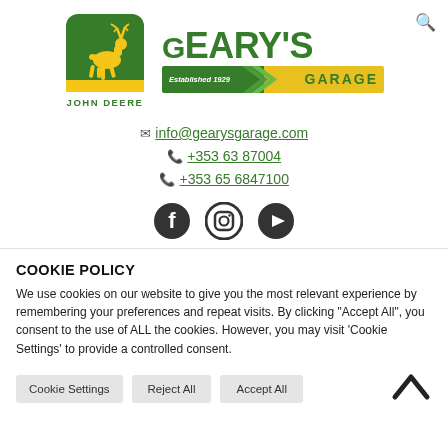[Figure (logo): John Deere logo with leaping deer in green square badge, and 'John Deere' text below in green]
[Figure (logo): Geary's Garage logo with large green 'GEARY'S' text and a banner showing 'Established 1929' on green section and 'GARAGE' on yellow section with chevron pattern]
info@gearysgarage.com
+353 63 87004
+353 65 6847100
[Figure (illustration): Social media icons: Facebook, Instagram, YouTube in dark grey/black circles]
COOKIE POLICY
We use cookies on our website to give you the most relevant experience by remembering your preferences and repeat visits. By clicking "Accept All", you consent to the use of ALL the cookies. However, you may visit 'Cookie Settings' to provide a controlled consent.
Cookie Settings | Reject All | Accept All